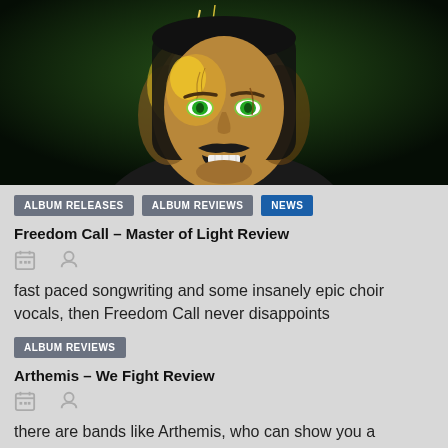[Figure (illustration): Dark fantasy illustration of a menacing male face with glowing yellow energy effects, set against a dark green background. The character has long dark hair, a mustache, and an intense grimacing expression.]
ALBUM RELEASES   ALBUM REVIEWS   NEWS
Freedom Call – Master of Light Review
fast paced songwriting and some insanely epic choir vocals, then Freedom Call never disappoints
ALBUM REVIEWS
Arthemis – We Fight Review
there are bands like Arthemis, who can show you a different side of the genre, that will get your adrenaline pumping. I'll